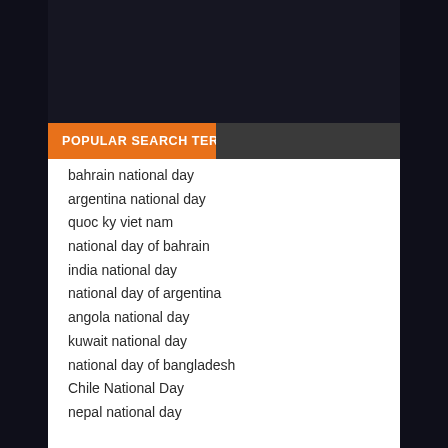POPULAR SEARCH TERMS
bahrain national day
argentina national day
quoc ky viet nam
national day of bahrain
india national day
national day of argentina
angola national day
kuwait national day
national day of bangladesh
Chile National Day
nepal national day